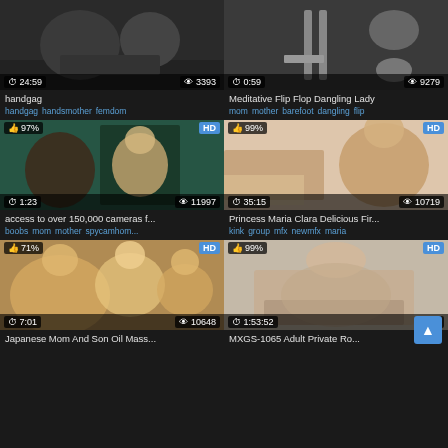[Figure (screenshot): Video thumbnail grid - top left: handgag video, duration 24:59, views 3393]
handgag
handgag handsmother femdom
[Figure (screenshot): Video thumbnail - Meditative Flip Flop Dangling Lady, duration 0:59, views 9279]
Meditative Flip Flop Dangling Lady
mom mother barefoot dangling flip
[Figure (screenshot): Video thumbnail - access to over 150,000 cameras, 97% likes, HD, duration 1:23, views 11997]
access to over 150,000 cameras f...
boobs mom mother spycamhom...
[Figure (screenshot): Video thumbnail - Princess Maria Clara Delicious Fir..., 99% likes, HD, duration 35:15, views 10719]
Princess Maria Clara Delicious Fir...
kink group mfx newmfx maria
[Figure (screenshot): Video thumbnail - Japanese Mom And Son Oil Mass..., 71% likes, HD, duration 7:01, views 10648]
Japanese Mom And Son Oil Mass...
[Figure (screenshot): Video thumbnail - MXGS-1065 Adult Private Ro..., 99% likes, HD, duration 1:53:52]
MXGS-1065 Adult Private Ro...